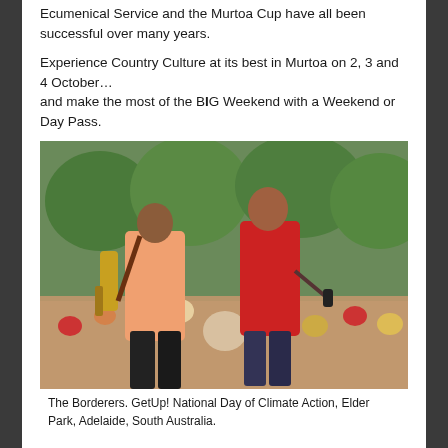Ecumenical Service and the Murtoa Cup have all been successful over many years.
Experience Country Culture at its best in Murtoa on 2, 3 and 4 October...
and make the most of the BIG Weekend with a Weekend or Day Pass.
[Figure (photo): Two performers on stage in an outdoor setting with a large crowd behind them. One person in a salmon/pink shirt plays guitar with their back to the camera; another person in a red jacket holds a microphone. Green trees are visible in the background.]
The Borderers. GetUp! National Day of Climate Action, Elder Park, Adelaide, South Australia.